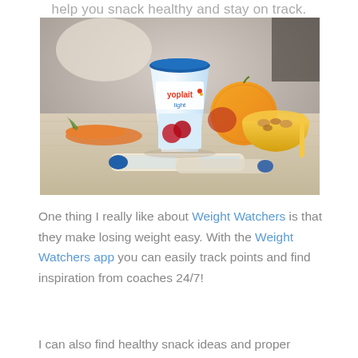help you snack healthy and stay on track.
[Figure (photo): Yoplait Light yogurt container with cherries on the label, surrounded by carrots, an orange, nuts in a yellow bowl, and string cheese sticks on a wooden surface.]
One thing I really like about Weight Watchers is that they make losing weight easy. With the Weight Watchers app you can easily track points and find inspiration from coaches 24/7!
I can also find healthy snack ideas and proper